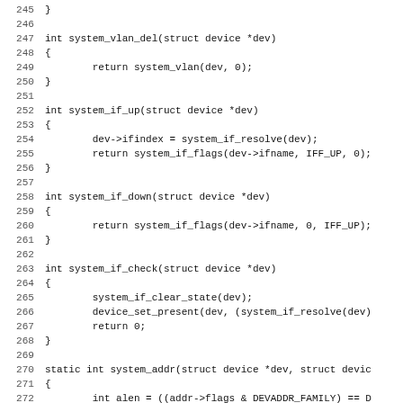Source code listing lines 245-277, C programming language, showing functions: system_vlan_del, system_if_up, system_if_down, system_if_check, and start of system_addr